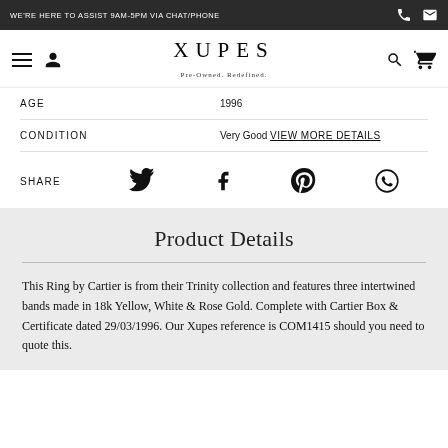WE'RE HERE TO ASSIST 9AM-5PM VIA CHAT/PHONE
[Figure (logo): XUPES Pre-Owned. Redefined. logo with navigation icons]
| Attribute | Value |
| --- | --- |
| AGE | 1996 |
| CONDITION | Very Good VIEW MORE DETAILS |
SHARE
[Figure (infographic): Social share icons: Twitter, Facebook, Pinterest, WhatsApp]
Product Details
This Ring by Cartier is from their Trinity collection and features three intertwined bands made in 18k Yellow, White & Rose Gold. Complete with Cartier Box & Certificate dated 29/03/1996. Our Xupes reference is COM1415 should you need to quote this.